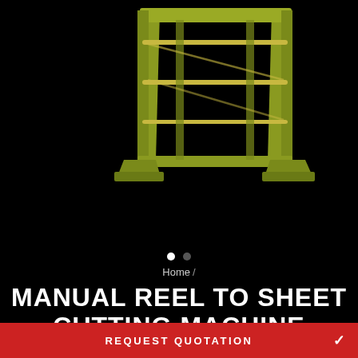[Figure (photo): Yellow-green manual reel to sheet cutting machine on black background, showing frame structure with horizontal bars and support legs]
Home /
MANUAL REEL TO SHEET CUTTING MACHINE
Rs. 78,750.00
REQUEST QUOTATION